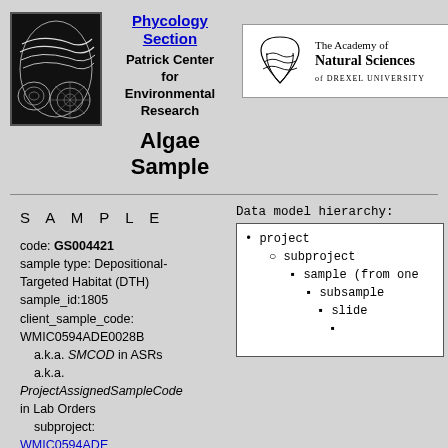[Figure (logo): Black and white microscopy image of algae/diatoms]
Phycology Section
Patrick Center for Environmental Research
Algae Sample
[Figure (logo): The Academy of Natural Sciences of Drexel University logo]
S A M P L E
code: GS004421
sample type: Depositional-Targeted Habitat (DTH)
sample_id:1805
client_sample_code: WMIC0594ADE0028B
a.k.a. SMCOD in ASRs
a.k.a. ProjectAssignedSampleCode in Lab Orders
subproject:
Data model hierarchy:
project
subproject
sample (from one
subsample
slide
(additional item)